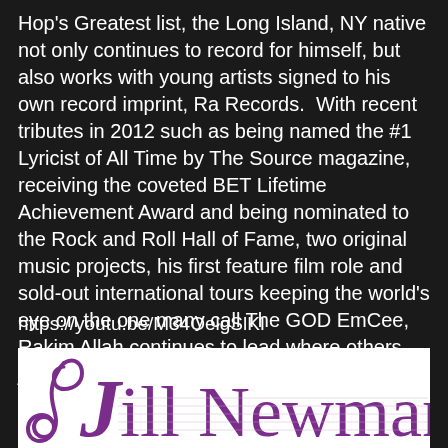Hop's Greatest list, the Long Island, NY native not only continues to record for himself, but also works with young artists signed to his own record imprint, Ra Records.  With recent tributes in 2012 such as being named the #1 Lyricist of All Time by The Source magazine, receiving the coveted BET Lifetime Achievement Award and being nominated to the Rock and Roll Hall of Fame, two original music projects, his first feature film role and sold-out international tours keeping the world's eye on the one many call The GOD EmCee, Rakim Allah continues to lead where others just follow.
https://youtu.be/M34OelgSlKI
[Figure (logo): Jill Newman logo in purple with a stylized musical note/treble clef before the 'J' in 'Jill' and musical staff lines behind the text]